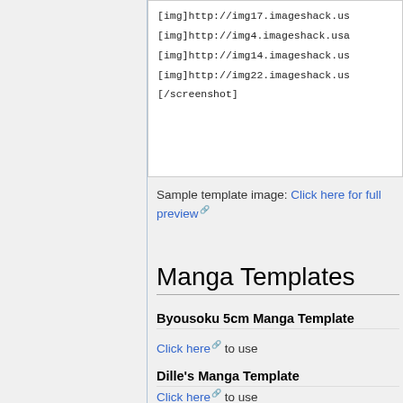[img]http://img17.imageshack.us/...
[img]http://img4.imageshack.usa/...
[img]http://img14.imageshack.us/...
[img]http://img22.imageshack.us/...
[/screenshot]
Sample template image: Click here for full preview
Manga Templates
Byousoku 5cm Manga Template
Click here to use
Dille's Manga Template
Click here to use